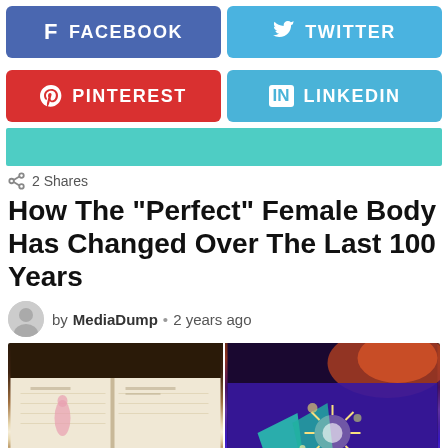[Figure (screenshot): Social media share buttons: Facebook (blue), Twitter (light blue), Pinterest (red), LinkedIn (light blue)]
2 Shares
How The "Perfect" Female Body Has Changed Over The Last 100 Years
by MediaDump • 2 years ago
[Figure (photo): Two side-by-side photographs: left shows a page from a book with a figure illustration; right shows a colorful fireworks/fantasy scene with teal and purple colors.]